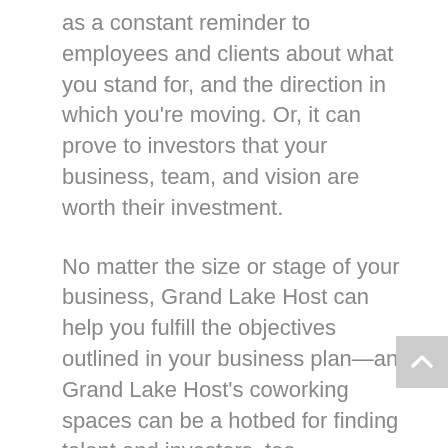as a constant reminder to employees and clients about what you stand for, and the direction in which you're moving. Or, it can prove to investors that your business, team, and vision are worth their investment.
No matter the size or stage of your business, Grand Lake Host can help you fulfill the objectives outlined in your business plan—and Grand Lake Host's coworking spaces can be a hotbed for finding talent and investors, too.
Using these steps to write a business plan will put you in good stead to not only create a document that fulfills a purpose but one that also helps to more clearly understand your market, competition, point of difference, and plan for the future.